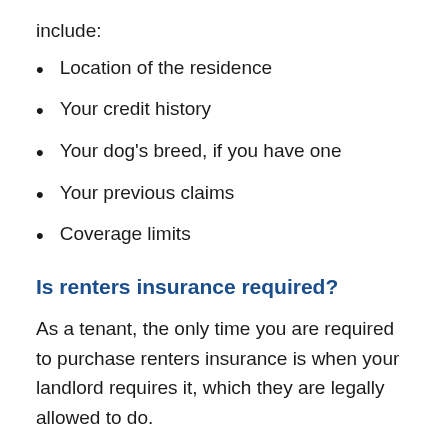include:
Location of the residence
Your credit history
Your dog's breed, if you have one
Your previous claims
Coverage limits
Is renters insurance required?
As a tenant, the only time you are required to purchase renters insurance is when your landlord requires it, which they are legally allowed to do.